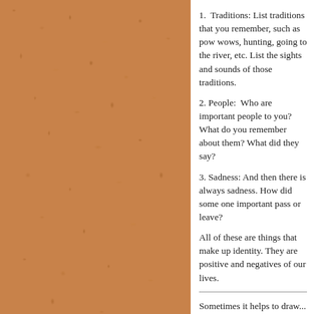[Figure (photo): Cork board texture filling the left half of the page, showing a coarse sandy/cork surface in shades of orange and brown.]
1.  Traditions: List traditions that you remember, such as pow wows, hunting, going to the river, etc. List the sights and sounds of those traditions.
2. People:  Who are important people to you? What do you remember about them? What did they say?
3. Sadness: And then there is always sadness. How did some one important pass or leave?
All of these are things that make up identity. They are positive and negatives of our lives.
Sometimes it helps to draw...
Try creating your own.  Start with a line. If the event is happy, place it above the line with the date or birthdate; if the event is difficult, place it below the middle line extending from the line.